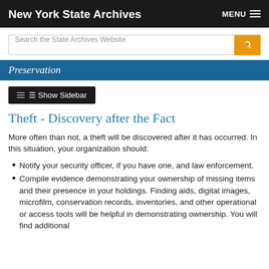New York State Archives
Theft - Discovery after the Fact
More often than not, a theft will be discovered after it has occurred. In this situation, your organization should:
Notify your security officer, if you have one, and law enforcement.
Compile evidence demonstrating your ownership of missing items and their presence in your holdings. Finding aids, digital images, microfilm, conservation records, inventories, and other operational or access tools will be helpful in demonstrating ownership. You will find additional